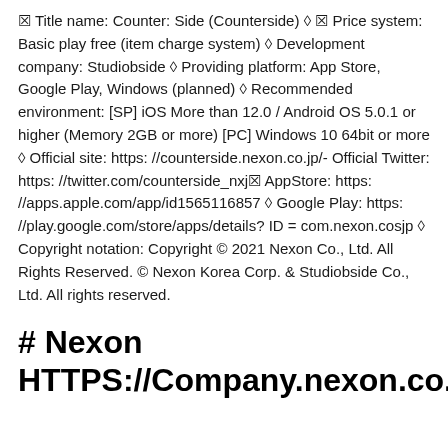▯ Title name: Counter: Side (Counterside) ◇ ▯ Price system: Basic play free (item charge system) ◇ Development company: Studiobside ◇ Providing platform: App Store, Google Play, Windows (planned) ◇ Recommended environment: [SP] iOS More than 12.0 / Android OS 5.0.1 or higher (Memory 2GB or more) [PC] Windows 10 64bit or more ◇ Official site: https: //counterside.nexon.co.jp/- Official Twitter: https: //twitter.com/counterside_nxj▯ AppStore: https: //apps.apple.com/app/id1565116857 ◇ Google Play: https: //play.google.com/store/apps/details? ID = com.nexon.cosjp ◇ Copyright notation: Copyright © 2021 Nexon Co., Ltd. All Rights Reserved. © Nexon Korea Corp. & Studiobside Co., Ltd. All rights reserved.
# Nexon HTTPS://Company.nexon.co.jp/